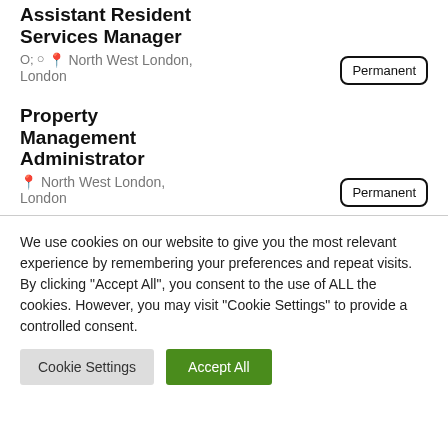Assistant Resident Services Manager
North West London, London
Permanent
Property Management Administrator
North West London, London
Permanent
We use cookies on our website to give you the most relevant experience by remembering your preferences and repeat visits. By clicking "Accept All", you consent to the use of ALL the cookies. However, you may visit "Cookie Settings" to provide a controlled consent.
Cookie Settings
Accept All